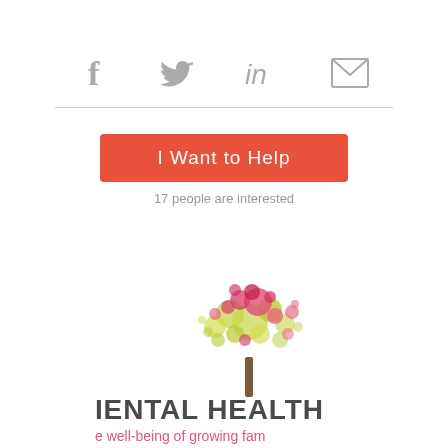[Figure (infographic): Social media share icons: Facebook (f), Twitter (bird), LinkedIn (in), Email (envelope), arranged in a row with a horizontal divider below]
[Figure (other): Orange button labeled 'I Want to Help' with text '17 people are interested' below it]
17 people are interested
[Figure (logo): Mental Health organization logo: colorful dot-tree illustration above text 'MENTAL HEALTH' and subtitle 'e well-being of growing fam' (partially cropped)]